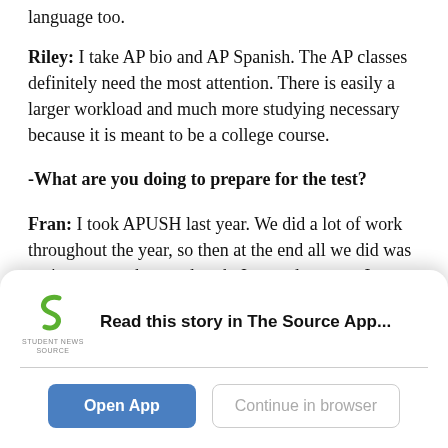language too.
Riley: I take AP bio and AP Spanish. The AP classes definitely need the most attention. There is easily a larger workload and much more studying necessary because it is meant to be a college course.
-What are you doing to prepare for the test?
Fran: I took APUSH last year. We did a lot of work throughout the year, so then at the end all we did was review our packets and such. I passed, so now I can use it for college credit.
Rory: I'm only taking the AP Spanish test and we do a lot in
[Figure (screenshot): App download banner for Student News Source app with logo, text 'Read this story in The Source App...', Open App button (blue), and Continue in browser button (outlined).]